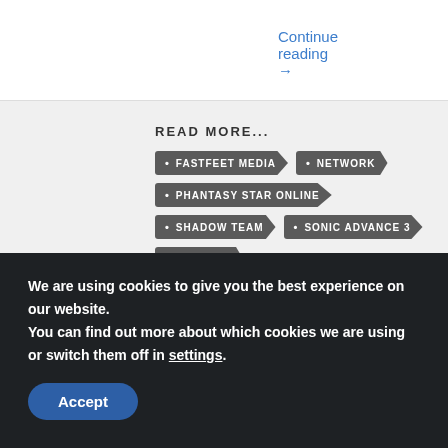Continue reading →
READ MORE...
FASTFEET MEDIA
NETWORK
PHANTASY STAR ONLINE
SHADOW TEAM
SONIC ADVANCE 3
SONIC ZX
The Sonic Stadium may link to retailers and earn a small commission on purchases made from users who click those links. These links will only appear in articles
We are using cookies to give you the best experience on our website.
You can find out more about which cookies we are using or switch them off in settings.
Accept